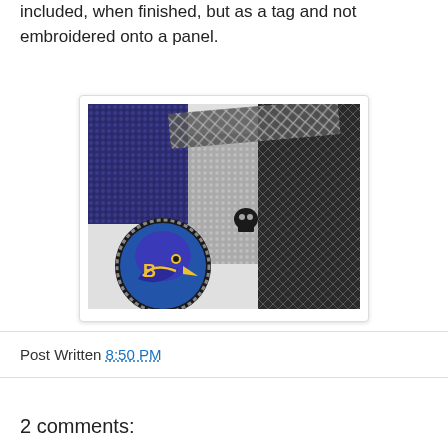included, when finished, but as a tag and not embroidered onto a panel.
[Figure (photo): Close-up photo of beaded needlework/craft items including a grey beaded panel, a black mesh beaded strap, and a circular cabochon with a Baltimore Ravens NFL team logo (purple and gold bird), all laid out on a white surface.]
Post Written 8:50 PM
2 comments: